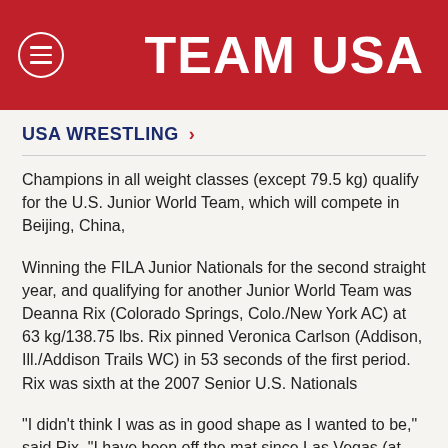TEAM USA
USA WRESTLING >
Champions in all weight classes (except 79.5 kg) qualify for the U.S. Junior World Team, which will compete in Beijing, China,
Winning the FILA Junior Nationals for the second straight year, and qualifying for another Junior World Team was Deanna Rix (Colorado Springs, Colo./New York AC) at 63 kg/138.75 lbs. Rix pinned Veronica Carlson (Addison, Ill./Addison Trails WC) in 53 seconds of the first period. Rix was sixth at the 2007 Senior U.S. Nationals
"I didn't think I was as in good shape as I wanted to be," said Rix. "I have been off the mat since Las Vegas (at the